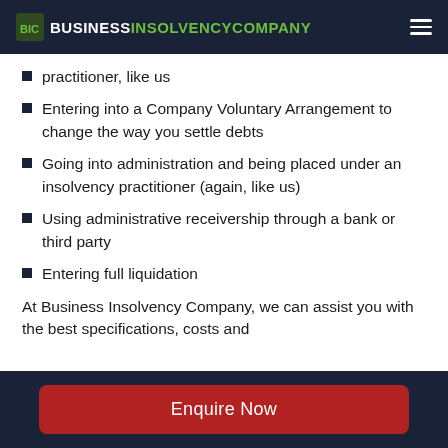BUSINESS INSOLVENCY COMPANY
practitioner, like us
Entering into a Company Voluntary Arrangement to change the way you settle debts
Going into administration and being placed under an insolvency practitioner (again, like us)
Using administrative receivership through a bank or third party
Entering full liquidation
At Business Insolvency Company, we can assist you with the best specifications, costs and
Enquire Now